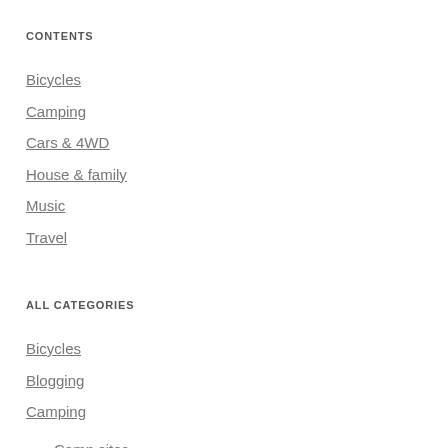CONTENTS
Bicycles
Camping
Cars & 4WD
House & family
Music
Travel
ALL CATEGORIES
Bicycles
Blogging
Camping
Camp sites
Gear
Tents & tarns